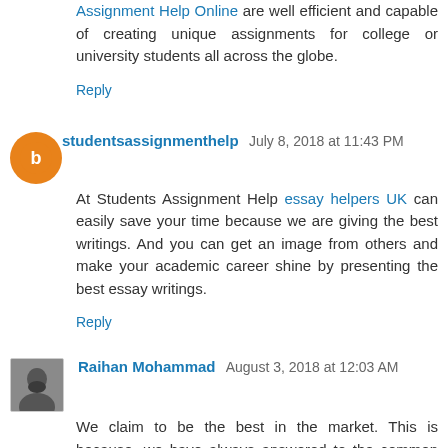Assignment Help Online are well efficient and capable of creating unique assignments for college or university students all across the globe.
Reply
studentsassignmenthelp  July 8, 2018 at 11:43 PM
At Students Assignment Help essay helpers UK can easily save your time because we are giving the best writings. And you can get an image from others and make your academic career shine by presenting the best essay writings.
Reply
Raihan Mohammad  August 3, 2018 at 12:03 AM
We claim to be the best in the market. This is because, we have always answered to the common question by the students- ` math word problem solver' with a positive note. Even if the students are in a doubt about the